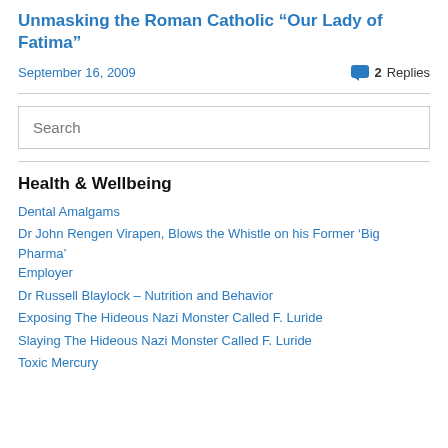Unmasking the Roman Catholic “Our Lady of Fatima”
September 16, 2009   💬 2 Replies
[Figure (other): Search input box with placeholder text 'Search']
Health & Wellbeing
Dental Amalgams
Dr John Rengen Virapen, Blows the Whistle on his Former ‘Big Pharma’ Employer
Dr Russell Blaylock – Nutrition and Behavior
Exposing The Hideous Nazi Monster Called F. Luride
Slaying The Hideous Nazi Monster Called F. Luride
Toxic Mercury